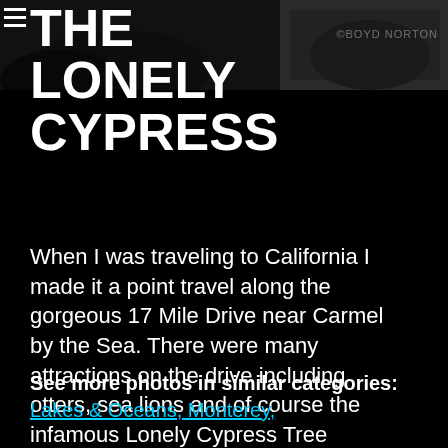[Figure (photo): Dark moody background photo of coastal landscape/Lonely Cypress at top of page]
THE LONELY CYPRESS
When I was traveling to California I made it a point travel along the gorgeous 17 Mile Drive near Carmel by the Sea. There were many attractions on the drive including otters, sea lions and of course the infamous Lonely Cypress Tree
See more photos in similar categories: Lakes & Oceans, Monterey,